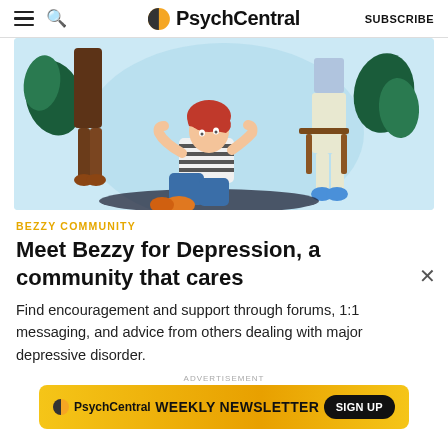PsychCentral — SUBSCRIBE
[Figure (illustration): Illustration of a young woman with red hair sitting on the floor in a therapy-like setting, surrounded by two standing adult figures and plants, on a light blue background.]
BEZZY COMMUNITY
Meet Bezzy for Depression, a community that cares
Find encouragement and support through forums, 1:1 messaging, and advice from others dealing with major depressive disorder.
ADVERTISEMENT
[Figure (infographic): PsychCentral Weekly Newsletter advertisement banner with a SIGN UP button on a golden/yellow background.]